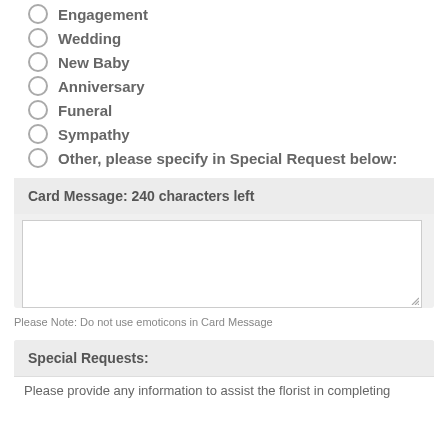Engagement
Wedding
New Baby
Anniversary
Funeral
Sympathy
Other, please specify in Special Request below:
Card Message: 240 characters left
Please Note: Do not use emoticons in Card Message
Special Requests:
Please provide any information to assist the florist in completing